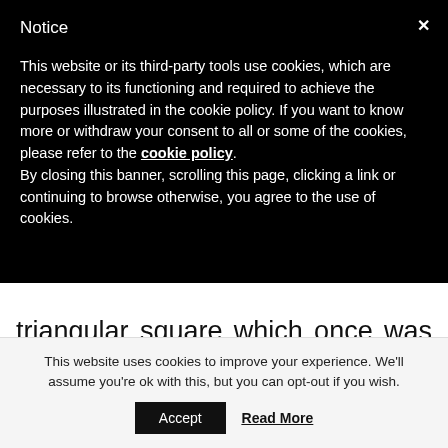Notice
This website or its third-party tools use cookies, which are necessary to its functioning and required to achieve the purposes illustrated in the cookie policy. If you want to know more or withdraw your consent to all or some of the cookies, please refer to the cookie policy.
By closing this banner, scrolling this page, clicking a link or continuing to browse otherwise, you agree to the use of cookies.
triangular square which once was a very important market. The three top tours from Florence to
This website uses cookies to improve your experience. We'll assume you're ok with this, but you can opt-out if you wish.
Accept   Read More